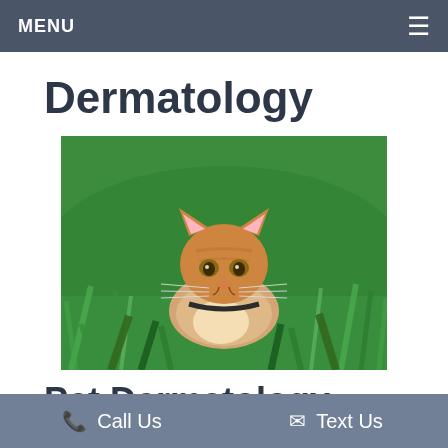MENU
Dermatology
[Figure (photo): Orange tabby kitten crouching in green grass, looking at the camera]
Pet Dermatology Se... o...
Call Us
Text Us